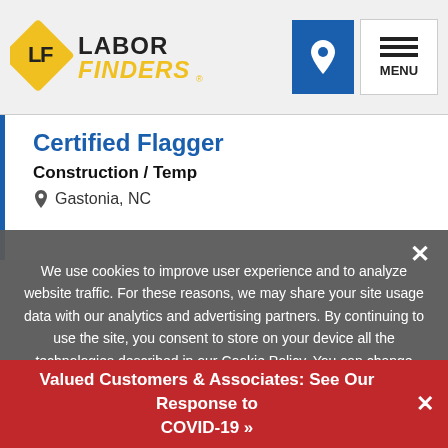[Figure (logo): Labor Finders logo with diamond LF emblem and gold/black text]
Certified Flagger
Construction / Temp
Gastonia, NC
We use cookies to improve user experience and to analyze website traffic. For these reasons, we may share your site usage data with our analytics and advertising partners. By continuing to use the site, you consent to store on your device all the technologies described in our Cookie Policy. You can change your cookie settings at any time by clicking "Cookie Preferences" in your browser settings. Please read our Terms and Conditions and Privacy Policy for full details.
Valued Customers & Associates: See Our Response to COVID-19 »